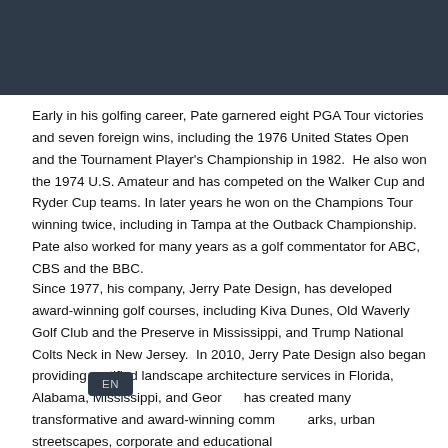[Figure (photo): Dark navy/charcoal header bar at the top of the page]
Early in his golfing career, Pate garnered eight PGA Tour victories and seven foreign wins, including the 1976 United States Open and the Tournament Player's Championship in 1982.  He also won the 1974 U.S. Amateur and has competed on the Walker Cup and Ryder Cup teams. In later years he won on the Champions Tour winning twice, including in Tampa at the Outback Championship. Pate also worked for many years as a golf commentator for ABC, CBS and the BBC.
Since 1977, his company, Jerry Pate Design, has developed award-winning golf courses, including Kiva Dunes, Old Waverly Golf Club and the Preserve in Mississippi, and Trump National Colts Neck in New Jersey.  In 2010, Jerry Pate Design also began providing certified landscape architecture services in Florida, Alabama, Mississippi, and Georgia has created many transformative and award-winning comm parks, urban streetscapes, corporate and educational